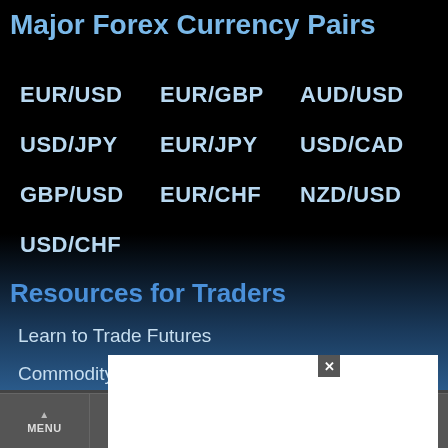Major Forex Currency Pairs
EUR/USD
EUR/GBP
AUD/USD
USD/JPY
EUR/JPY
USD/CAD
GBP/USD
EUR/CHF
NZD/USD
USD/CHF
Resources for Traders
Learn to Trade Futures
Commodity Brokers Directory
Contract Specifications
[Figure (screenshot): Modal popup overlay with white background and close button (x)]
MENU  CHARTS  QUOTES  MY MENU  SETTINGS